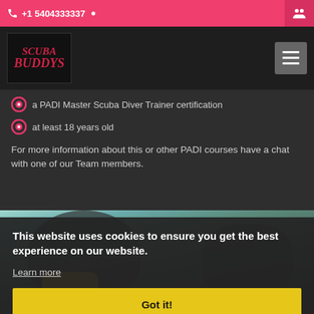+1 5404333337
[Figure (logo): Scuba Buddys logo - red stylized text on dark background]
a PADI Master Scuba Diver Trainer certification
at least 18 years old
For more information about this or other PADI courses have a chat with one of our Team members.
[Figure (photo): Scuba diving instructors/divers in wetsuits and equipment, teal water background]
This website uses cookies to ensure you get the best experience on our website.
Learn more
Got it!